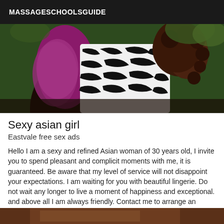MASSAGESCHOOLSGUIDE
[Figure (photo): Two women photographed from behind outdoors, one wearing a purple/pink sparkly outfit and one wearing a black and white zebra print top, with dark curly hair visible on the right.]
Sexy asian girl
Eastvale free sex ads
Hello I am a sexy and refined Asian woman of 30 years old, I invite you to spend pleasant and complicit moments with me, it is guaranteed. Be aware that my level of service will not disappoint your expectations. I am waiting for you with beautiful lingerie. Do not wait any longer to live a moment of happiness and exceptional. and above all I am always friendly. Contact me to arrange an appointment. BISOUS
[Figure (photo): Partial image of a person visible at the very bottom of the page.]